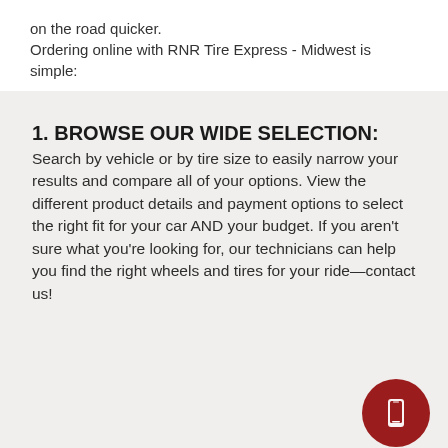on the road quicker.
Ordering online with RNR Tire Express - Midwest is simple:
1. BROWSE OUR WIDE SELECTION: Search by vehicle or by tire size to easily narrow your results and compare all of your options. View the different product details and payment options to select the right fit for your car AND your budget. If you aren't sure what you're looking for, our technicians can help you find the right wheels and tires for your ride—contact us!